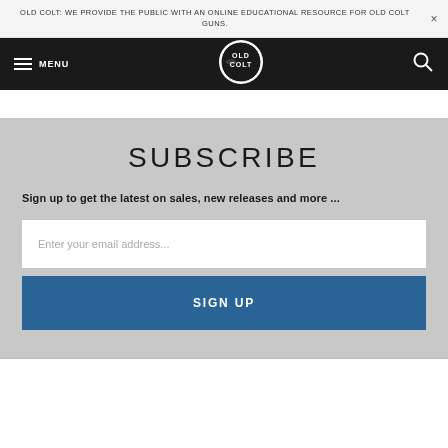OLD COLT: WE PROVIDE THE PUBLIC WITH AN ONLINE EDUCATIONAL RESOURCE FOR OLD COLT GUNS.
[Figure (logo): Old Colt website navigation bar with hamburger menu, Old Colt circular logo, and search icon on dark background]
SUBSCRIBE
Sign up to get the latest on sales, new releases and more ...
Enter your email address...
SIGN UP